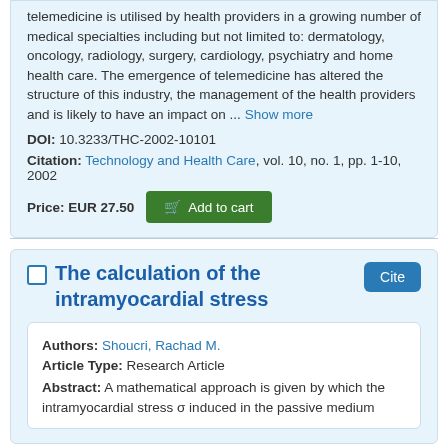telemedicine is utilised by health providers in a growing number of medical specialties including but not limited to: dermatology, oncology, radiology, surgery, cardiology, psychiatry and home health care. The emergence of telemedicine has altered the structure of this industry, the management of the health providers and is likely to have an impact on ... Show more
DOI: 10.3233/THC-2002-10101
Citation: Technology and Health Care, vol. 10, no. 1, pp. 1-10, 2002
Price: EUR 27.50  Add to cart
The calculation of the intramyocardial stress
Authors: Shoucri, Rachad M.
Article Type: Research Article
Abstract: A mathematical approach is given by which the intramyocardial stress σ induced in the passive medium